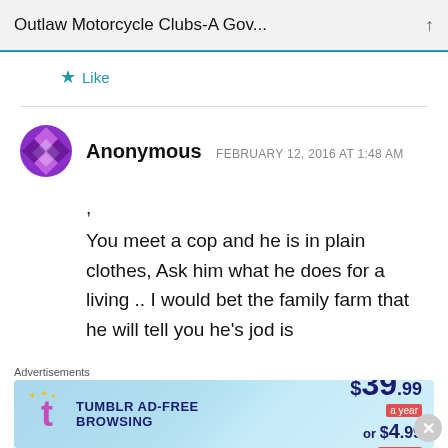Outlaw Motorcycle Clubs-A Gov...
Like
Anonymous  FEBRUARY 12, 2016 AT 1:48 AM
, 
You meet a cop and he is in plain clothes, Ask him what he does for a living .. I would bet the family farm that he will tell you he’s jod is
Advertisements
[Figure (screenshot): Tumblr Ad-Free Browsing advertisement banner showing $39.99 a year or $4.99 a month pricing]